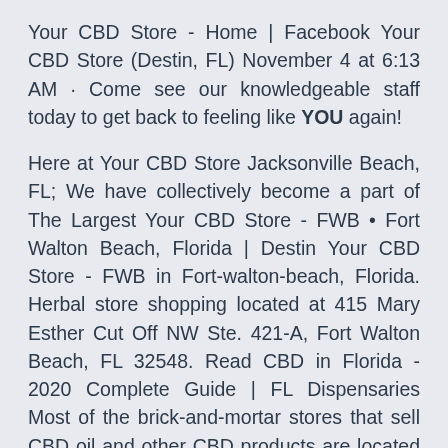Your CBD Store - Home | Facebook Your CBD Store (Destin, FL) November 4 at 6:13 AM · Come see our knowledgeable staff today to get back to feeling like YOU again!
Here at Your CBD Store Jacksonville Beach, FL; We have collectively become a part of The Largest Your CBD Store - FWB • Fort Walton Beach, Florida | Destin Your CBD Store - FWB in Fort-walton-beach, Florida. Herbal store shopping located at 415 Mary Esther Cut Off NW Ste. 421-A, Fort Walton Beach, FL 32548. Read CBD in Florida - 2020 Complete Guide | FL Dispensaries Most of the brick-and-mortar stores that sell CBD oil and other CBD products are located in the larger cities in Florida such as Miami, Tampa, Tallahassee, Jacksonville, St. Petersburg, Fort Lauderdale, and Orlando. Here are some CBD products